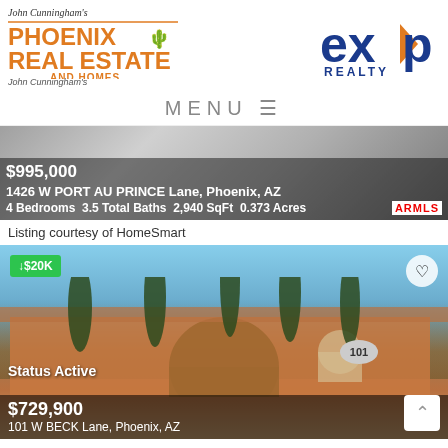[Figure (logo): John Cunningham's Phoenix Real Estate and Homes logo (left) and eXp Realty logo (right)]
MENU ☰
[Figure (photo): Partial property listing photo with price $995,000, address 1426 W PORT AU PRINCE Lane, Phoenix, AZ, 4 Bedrooms 3.5 Total Baths 2,940 SqFt 0.373 Acres]
Listing courtesy of HomeSmart
[Figure (photo): Property listing photo with price drop badge ↓$20K, Status Active, price $729,900, address 101 W BECK Lane, Phoenix, AZ]